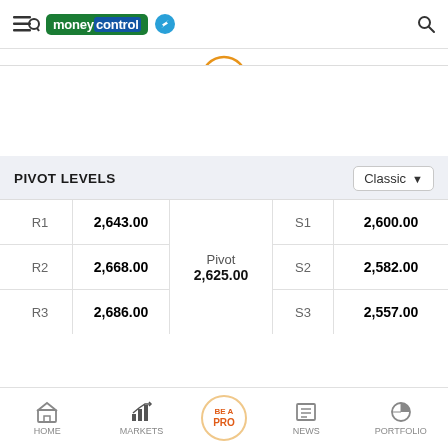moneycontrol
PIVOT LEVELS
|  |  | Pivot |  |  |
| --- | --- | --- | --- | --- |
| R1 | 2,643.00 | Pivot 2,625.00 | S1 | 2,600.00 |
| R2 | 2,668.00 |  | S2 | 2,582.00 |
| R3 | 2,686.00 |  | S3 | 2,557.00 |
HOME  MARKETS  BE A PRO  NEWS  PORTFOLIO